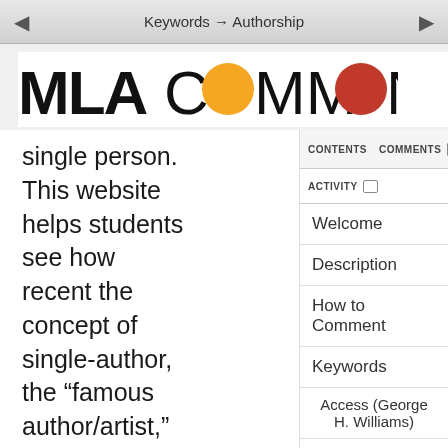Keywords → Authorship
[Figure (logo): MLA Commons logo with orange and red speech bubble circles replacing the O letters in COMMONS]
single person. This website helps students see how recent the concept of single-author, the "famous author/artist," is as a construction even though it has become a norm in the art world
CONTENTS
COMMENTS
ACTIVITY
Welcome
Description
How to Comment
Keywords
Access (George H. Williams)
Affect (Elizabeth Losh)
Annotation (Paul Schacht)
Archive (Lauren